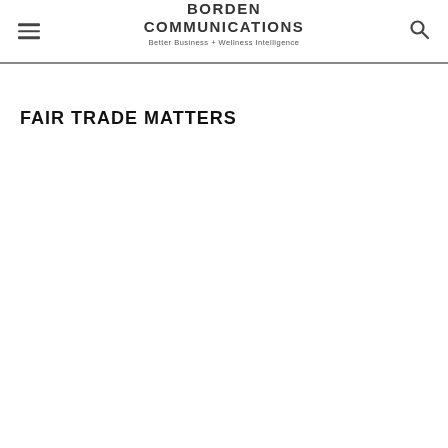BORDEN COMMUNICATIONS
Better Business + Wellness Intelligence
FAIR TRADE MATTERS